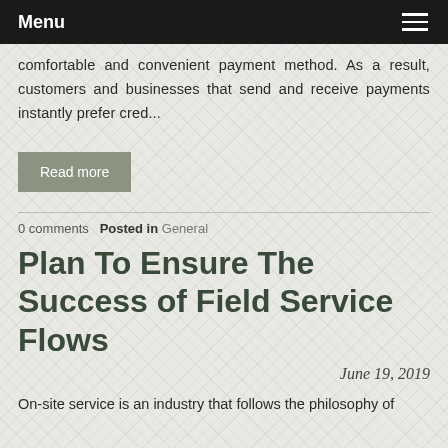Menu
comfortable and convenient payment method. As a result, customers and businesses that send and receive payments instantly prefer cred...
Read more
0 comments   Posted in General
Plan To Ensure The Success of Field Service Flows
June 19, 2019
On-site service is an industry that follows the philosophy of